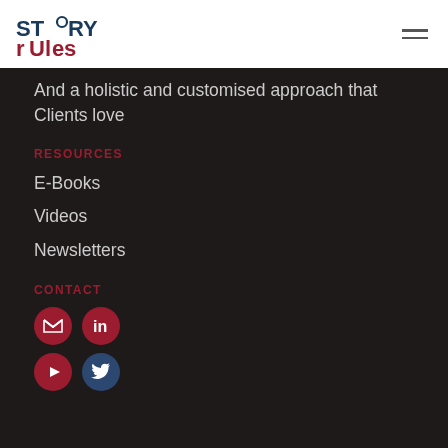Story Rules
And a holistic and customised approach that Clients love
RESOURCES
E-Books
Videos
Newsletters
CONTACT
[Figure (other): Social media icons: email, LinkedIn, YouTube, Twitter]